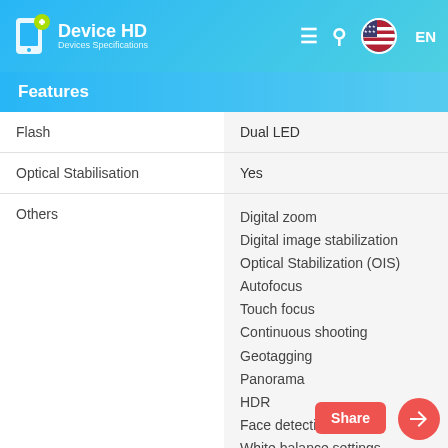[Figure (logo): Device HD logo with smartphone icon and 'Devices Specifications' tagline, navigation bar with hamburger menu, search icon, US flag and EN language selector]
| Features |  |
| --- | --- |
| Flash | Dual LED |
| Optical Stabilisation | Yes |
| Others | Digital zoom
Digital image stabilization
Optical Stabilization (OIS)
Autofocus
Touch focus
Continuous shooting
Geotagging
Panorama
HDR
Face detection
White balance settings
ISO settings
Exposure compensation
Scene mode
Self-timer |